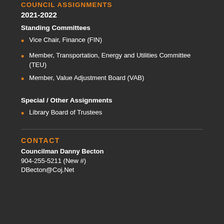COUNCIL ASSIGNMENTS
2021-2022
Standing Committees
Vice Chair, Finance (FIN)
Member, Transportation, Energy and Utilities Committee (TEU)
Member, Value Adjustment Board (VAB)
Special / Other Assignments
Library Board of Trustees
CONTACT
Councilman Danny Becton
904-255-5211 (New #)
DBecton@Coj.Net